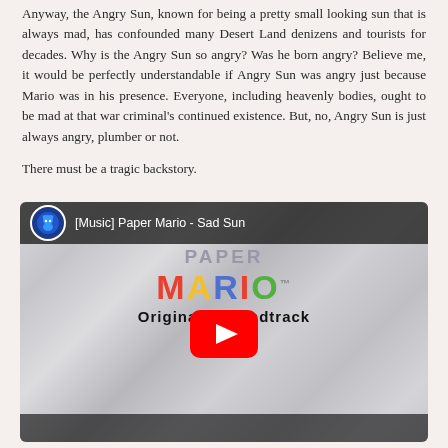Anyway, the Angry Sun, known for being a pretty small looking sun that is always mad, has confounded many Desert Land denizens and tourists for decades. Why is the Angry Sun so angry? Was he born angry? Believe me, it would be perfectly understandable if Angry Sun was angry just because Mario was in his presence. Everyone, including heavenly bodies, ought to be mad at that war criminal's continued existence. But, no, Angry Sun is just always angry, plumber or not.
There must be a tragic backstory.
[Figure (screenshot): YouTube video embed thumbnail for '[Music] Paper Mario - Sad Sun' showing the Paper Mario Original Soundtrack logo on a crumpled paper background with a YouTube play button overlay.]